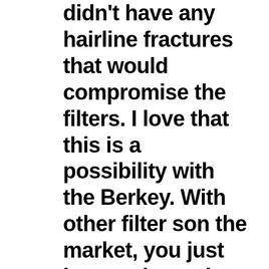didn't have any hairline fractures that would compromise the filters. I love that this is a possibility with the Berkey. With other filter son the market, you just have to hope that they are filtering properly and it's hard to know when they have outlived their functionality.